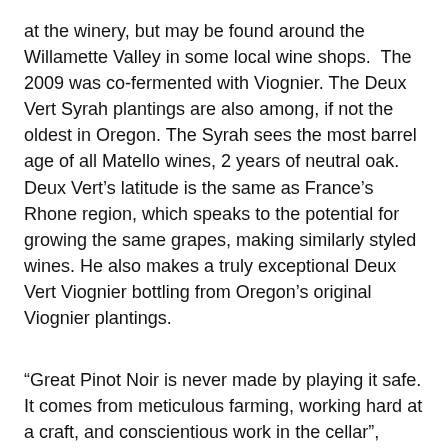at the winery, but may be found around the Willamette Valley in some local wine shops.  The 2009 was co-fermented with Viognier. The Deux Vert Syrah plantings are also among, if not the oldest in Oregon. The Syrah sees the most barrel age of all Matello wines, 2 years of neutral oak. Deux Vert's latitude is the same as France's Rhone region, which speaks to the potential for growing the same grapes, making similarly styled wines. He also makes a truly exceptional Deux Vert Viognier bottling from Oregon's original Viognier plantings.
“Great Pinot Noir is never made by playing it safe. It comes from meticulous farming, working hard at a craft, and conscientious work in the cellar”, Marcus believes. Meticulous farming is seen in the vineyards, Bishop Creek, Whistling Ridge and Winter’s Hill among them. Matello is a member of the Deep Roots Coalition, a group of wineries and vineyards subscribing to the biodynamic practices and